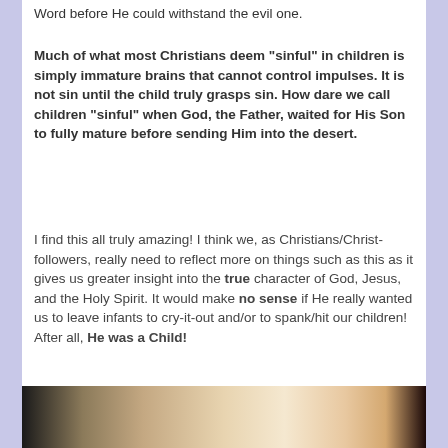Word before He could withstand the evil one.
Much of what most Christians deem “sinful” in children is simply immature brains that cannot control impulses. It is not sin until the child truly grasps sin. How dare we call children “sinful” when God, the Father, waited for His Son to fully mature before sending Him into the desert.
I find this all truly amazing!  I think we, as Christians/Christ-followers, really need to reflect more on things such as this as it gives us greater insight into the true character of God, Jesus, and the Holy Spirit. It would make no sense if He really wanted us to leave infants to cry-it-out and/or to spank/hit our children!   After all, He was a Child!
[Figure (photo): A photo strip showing what appears to be a child or infant, partially visible at the bottom of the page, with dark edges and warm tones in the center.]